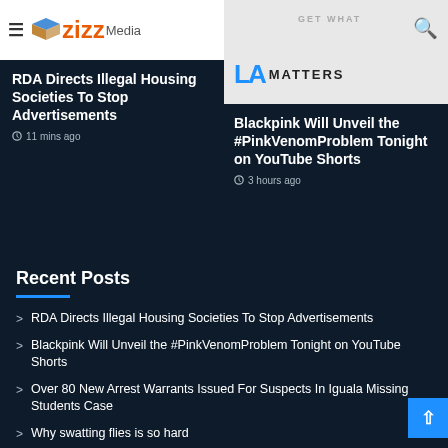[Figure (logo): Zizz Media logo with hamburger menu icon on white background header bar]
[Figure (photo): LA Matters advertisement/banner on light grey background with search icon]
RDA Directs Illegal Housing Societies To Stop Advertisements
11 mins ago
Blackpink Will Unveil the #PinkVenomProblem Tonight on YouTube Shorts
3 hours ago
Recent Posts
RDA Directs Illegal Housing Societies To Stop Advertisements
Blackpink Will Unveil the #PinkVenomProblem Tonight on YouTube Shorts
Over 80 New Arrest Warrants Issued For Suspects In Iguala Missing Students Case
Why swatting flies is so hard